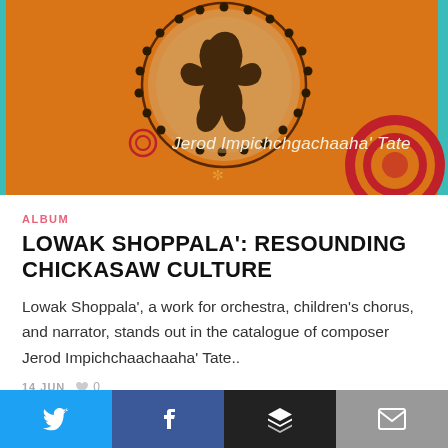[Figure (illustration): Album artwork for Lowak Shoppala showing a Native American figure in a circular medallion on an orange/amber background with decorative elements, with text 'Jerod Impichchgachaaha' Tate']
ALBUM
LOWAK SHOPPALA': RESOUNDING CHICKASAW CULTURE
Lowak Shoppala', a work for orchestra, children's chorus, and narrator, stands out in the catalogue of composer Jerod Impichchaachaaha' Tate..
14 JUN  ♥ 0